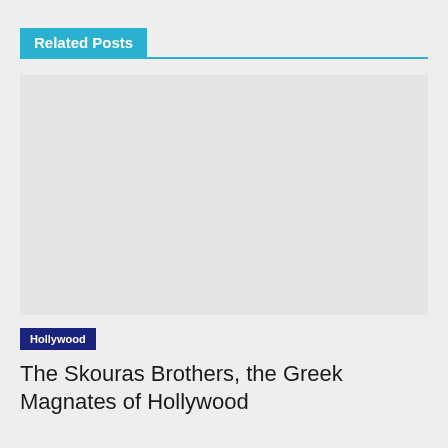Related Posts
[Figure (other): Empty image placeholder area with light gray background]
Hollywood
The Skouras Brothers, the Greek Magnates of Hollywood